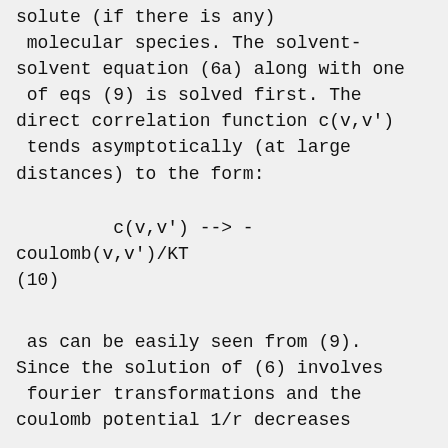solute (if there is any) molecular species. The solvent-solvent equation (6a) along with one of eqs (9) is solved first. The direct correlation function c(v,v') tends asymptotically (at large distances) to the form:
as can be easily seen from (9). Since the solution of (6) involves fourier transformations and the coulomb potential 1/r decreases